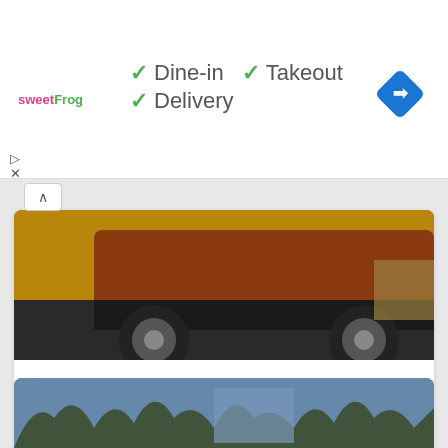[Figure (screenshot): Ad banner for sweetFrog restaurant showing dine-in, takeout, and delivery options with green checkmarks, and a blue navigation arrow icon]
[Figure (photo): Rear undercarriage of a red/orange SUV (Lexus) on a road, photographed from low angle showing wheels and underside]
Quick Drive: 2020 Lexus NX 300h & UX 250h
By William Maley, in Reviews, August 24, 2021
Lexus' Hybrid Theory of Crossovers
7 comments   1,492 views
[Figure (photo): Partial view of a wooded winter scene with bare trees and a blue building in background]